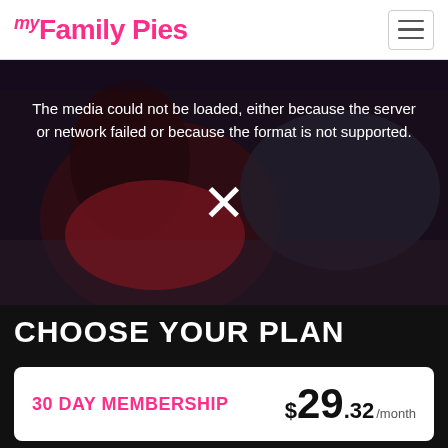my Family Pies
[Figure (screenshot): Video player showing error message: 'The media could not be loaded, either because the server or network failed or because the format is not supported.' with an X symbol overlay on a dark background with adult content imagery]
CHOOSE YOUR PLAN
30 DAY MEMBERSHIP $29.32/month